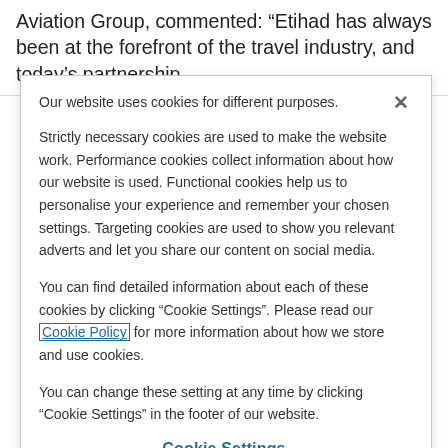Aviation Group, commented: “Etihad has always been at the forefront of the travel industry, and today’s partnership
Our website uses cookies for different purposes.
Strictly necessary cookies are used to make the website work. Performance cookies collect information about how our website is used. Functional cookies help us to personalise your experience and remember your chosen settings. Targeting cookies are used to show you relevant adverts and let you share our content on social media.
You can find detailed information about each of these cookies by clicking “Cookie Settings”. Please read our Cookie Policy for more information about how we store and use cookies.
You can change these setting at any time by clicking “Cookie Settings” in the footer of our website.
Cookie Settings